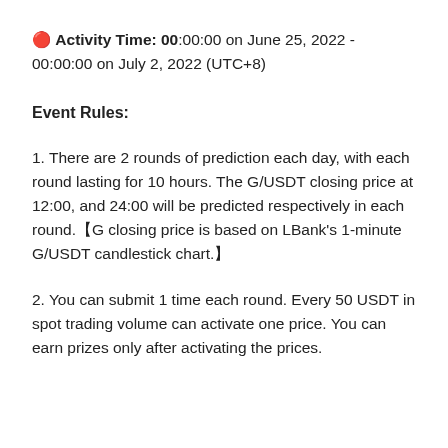🔴 Activity Time: 00:00:00 on June 25, 2022 - 00:00:00 on July 2, 2022 (UTC+8)
Event Rules:
1. There are 2 rounds of prediction each day, with each round lasting for 10 hours. The G/USDT closing price at 12:00, and 24:00 will be predicted respectively in each round.【G closing price is based on LBank's 1-minute G/USDT candlestick chart.】
2. You can submit 1 time each round. Every 50 USDT in spot trading volume can activate one price. You can earn prizes only after activating the prices.